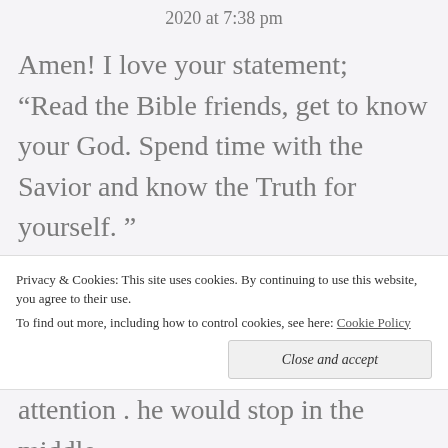2020 at 7:38 pm
Amen! I love your statement; “Read the Bible friends, get to know your God. Spend time with the Savior and know the Truth for yourself. ”
When I was going through Bible College many years ago for the ministry our Principal would misquote scripture
Privacy & Cookies: This site uses cookies. By continuing to use this website, you agree to their use.
To find out more, including how to control cookies, see here: Cookie Policy
attention . he would stop in the middle